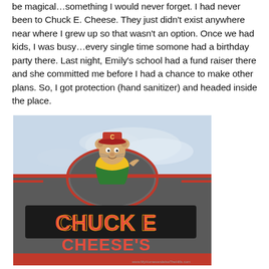be magical…something I would never forget. I had never been to Chuck E. Cheese. They just didn't exist anywhere near where I grew up so that wasn't an option. Once we had kids, I was busy…every single time somone had a birthday party there. Last night, Emily's school had a fund raiser there and she committed me before I had a chance to make other plans. So, I got protection (hand sanitizer) and headed inside the place.
[Figure (photo): Exterior photo of a Chuck E. Cheese's restaurant building, showing the storefront sign with the Chuck E. Cheese mascot character (a cartoon mouse wearing a red cap with a 'C' on it, yellow shirt, green overalls) above large red and yellow lettering reading 'CHUCK E CHEESE'S' against a gray building facade with red trim. Sky visible in background.]